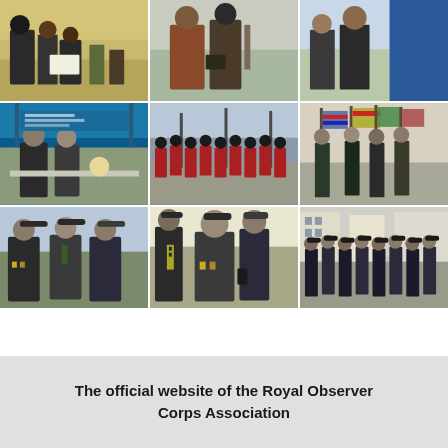[Figure (photo): Grid of 9 photographs showing Royal Observer Corps Association events: people signing documents outdoors, people talking outdoors, someone at a tent/stall, marching band in red uniforms, flag bearers, veterans posing in uniform with medals, veterans group outdoors, naval personnel marching]
The official website of the Royal Observer Corps Association